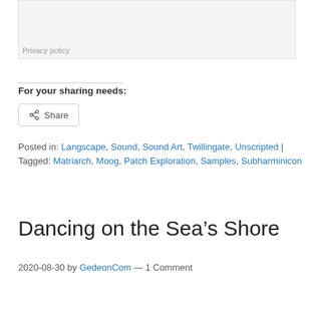[Figure (other): Gray input box area (comment/form field) with Privacy policy label at bottom]
Privacy policy
For your sharing needs:
[Figure (other): Share button with share icon]
Posted in: Langscape, Sound, Sound Art, Twillingate, Unscripted | Tagged: Matriarch, Moog, Patch Exploration, Samples, Subharminicon
Dancing on the Sea’s Shore
2020-08-30 by GedeonCom — 1 Comment